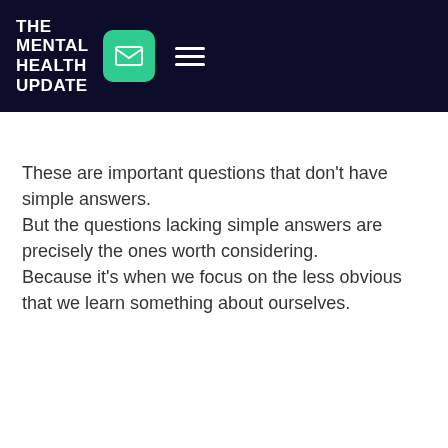THE MENTAL HEALTH UPDATE
These are important questions that don't have simple answers.
But the questions lacking simple answers are precisely the ones worth considering.
Because it's when we focus on the less obvious that we learn something about ourselves.